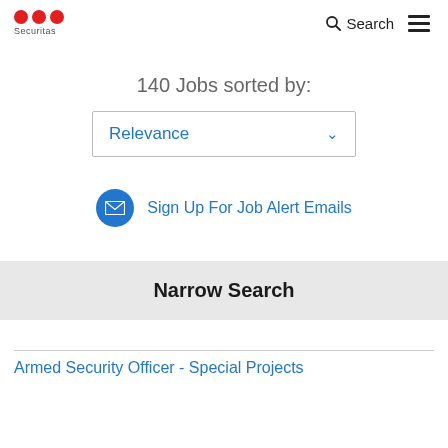Securitas — Search
140 Jobs sorted by:
Relevance
Sign Up For Job Alert Emails
Narrow Search
Armed Security Officer - Special Projects